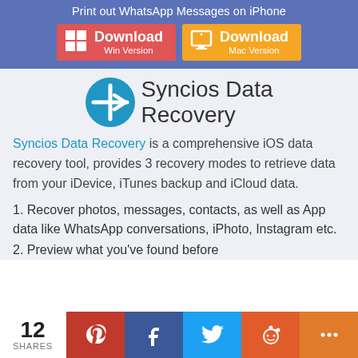Print out WhatsApp Messages on iPhone
[Figure (screenshot): Download Win Version button (red) and Download Mac Version button (orange) on blue background]
[Figure (logo): Syncios Data Recovery logo - blue circle with white plus and arrow icon, next to text 'Syncios Data Recovery']
Syncios Data Recovery is a comprehensive iOS data recovery tool, provides 3 recovery modes to retrieve data from your iDevice, iTunes backup and iCloud data.
1. Recover photos, messages, contacts, as well as App data like WhatsApp conversations, iPhoto, Instagram etc.
2. Preview what you've found before recovery.
12 SHARES | Pinterest | Facebook | Twitter | Reddit | More